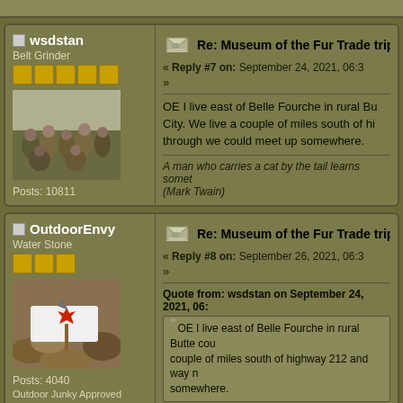wsdstan
Belt Grinder
[Figure (photo): Group photo of hikers/explorers outdoors]
Posts: 10811
Re: Museum of the Fur Trade trip
« Reply #7 on: September 24, 2021, 06:3
OE I live east of Belle Fourche in rural Bu... City. We live a couple of miles south of hi... through we could meet up somewhere.
A man who carries a cat by the tail learns somet... (Mark Twain)
OutdoorEnvy
Water Stone
[Figure (photo): Hatchet or axe with red maple leaf logo on white cloth, on leaves]
Posts: 4040
Outdoor Junky Approved
Re: Museum of the Fur Trade trip
« Reply #8 on: September 26, 2021, 06:3
Quote from: wsdstan on September 24, 2021, 06:
OE I live east of Belle Fourche in rural Butte cou... couple of miles south of highway 212 and way n... somewhere.
Thanks Stan. I'll keep in mind for future.